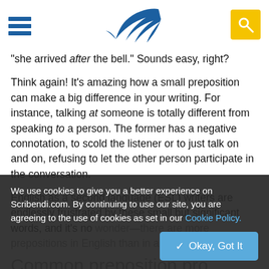Navigation header with hamburger menu, Scribendi feather logo, and search button
"she arrived after the bell." Sounds easy, right?
Think again! It's amazing how a small preposition can make a big difference in your writing. For instance, talking at someone is totally different from speaking to a person. The former has a negative connotation, to scold the listener or to just talk on and on, refusing to let the other person participate in the conversation.
English as a second language (ESL) writers are endlessly frustrated by these small but significant words, and it's no wonder—there are more prepositions in English than in any
Common preposition pro
We use cookies to give you a better experience on Scribendi.com. By continuing to use our site, you are agreeing to the use of cookies as set in our Cookie Policy.